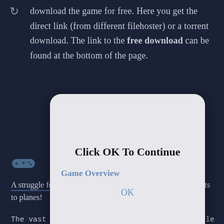download the game for free. Here you get the direct link (from different filehoster) or a torrent download. The link to the free download can be found at the bottom of the page.
[Figure (screenshot): A modal dialog box with rounded corners on a dark background. It contains the title 'Click OK To Continue', a section label 'Game Overview', and a blue 'OK' button text.]
A struggle for land where new strategies are born: from points to planes!
The vast land of China is represented a single